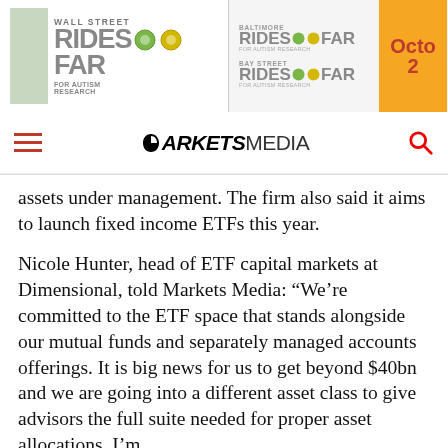[Figure (illustration): Banner advertisement for Wall Street Rides Far, Baltimore Rides Far, Bay Street Rides Far for Autism Research, with orange panel showing 'Octo 2' (October date partially visible)]
MARKETS MEDIA
assets under management. The firm also said it aims to launch fixed income ETFs this year.
Nicole Hunter, head of ETF capital markets at Dimensional, told Markets Media: “We’re committed to the ETF space that stands alongside our mutual funds and separately managed accounts offerings. It is big news for us to get beyond $40bn and we are going into a different asset class to give advisors the full suite needed for proper asset allocations. I’m